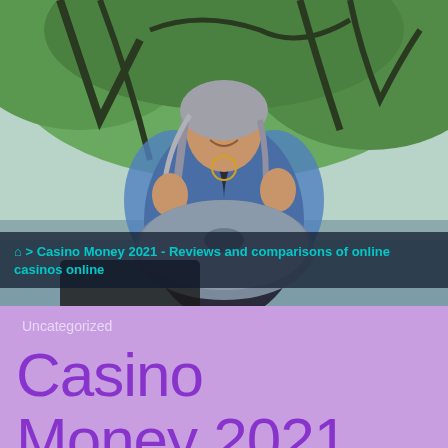[Figure (photo): A woman with gray hair smiling and playing a handpan drum instrument outdoors under trees near a beach. She is wearing a blue patterned jacket over a dark shirt.]
🏠 > Casino Money 2021 - Reviews and comparisons of online casinos online
Uncategorized
Casino Money 2021